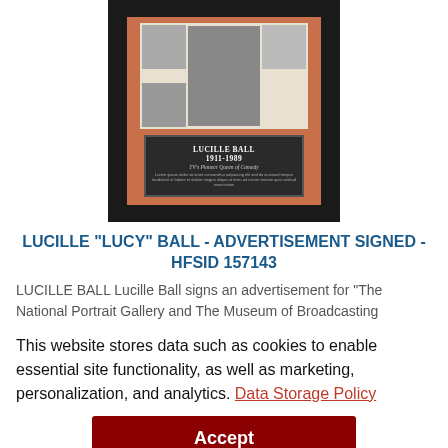[Figure (photo): Framed memorabilia item featuring a black frame with salmon/coral matting, a black-and-white photo collage of Lucille Ball at the top, and a dark commemorative plaque below reading 'LUCILLE BALL 1911-1989 TV's Pioneer Queen of Comedy']
LUCILLE "LUCY" BALL - ADVERTISEMENT SIGNED - HFSID 157143
LUCILLE BALL Lucille Ball signs an advertisement for "The National Portrait Gallery and The Museum of Broadcasting
This website stores data such as cookies to enable essential site functionality, as well as marketing, personalization, and analytics. Data Storage Policy
Accept
Deny